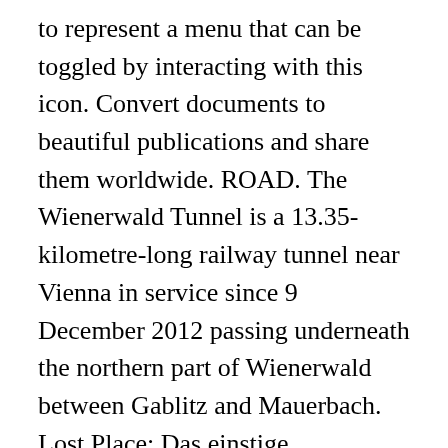to represent a menu that can be toggled by interacting with this icon. Convert documents to beautiful publications and share them worldwide. ROAD. The Wienerwald Tunnel is a 13.35-kilometre-long railway tunnel near Vienna in service since 9 December 2012 passing underneath the northern part of Wienerwald between Gablitz and Mauerbach. Lost Place: Das einstige Sanatorium 07 Jan Es gibt Menschen, die fasziniert von alten, verlassenen und dem Verfall preisgegebenen Gebäuden sind und sich in diesen mit Ehrfurcht und Respekt bewegen ; Places to stay in Potsdam - No Reservation Cost . Sparks to Signals: Literature, Science, and Wireless Technology, 1800-1930 Newsletter. The